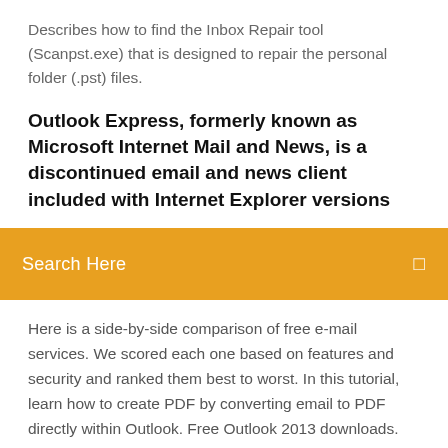Describes how to find the Inbox Repair tool (Scanpst.exe) that is designed to repair the personal folder (.pst) files.
Outlook Express, formerly known as Microsoft Internet Mail and News, is a discontinued email and news client included with Internet Explorer versions
Search Here
Here is a side-by-side comparison of free e-mail services. We scored each one based on features and security and ranked them best to worst. In this tutorial, learn how to create PDF by converting email to PDF directly within Outlook. Free Outlook 2013 downloads. Outlook 2013. Thunderbird to Outlook 2013. Would like to go with Outlook 2013 from Thunderbird and need for Thunderbird to Outlook 2013. Roadmapa Microsoftu 365 obsahuje aktualizace, které se aktuálně plánují pro oprávněné předplatitele. Najdete tady další informace o stavu nových